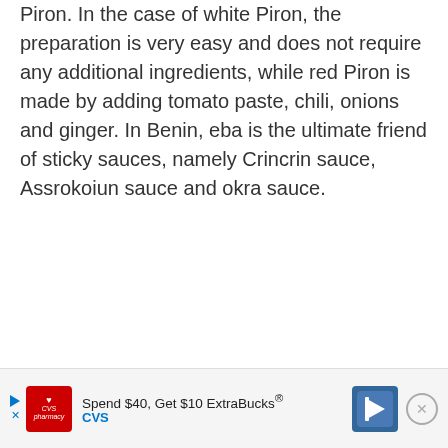Piron. In the case of white Piron, the preparation is very easy and does not require any additional ingredients, while red Piron is made by adding tomato paste, chili, onions and ginger. In Benin, eba is the ultimate friend of sticky sauces, namely Crincrin sauce, Assrokoiun sauce and okra sauce.
[Figure (other): CVS Pharmacy advertisement banner: 'Spend $40, Get $10 ExtraBucks®' with CVS logo and navigation arrow icon, close button]